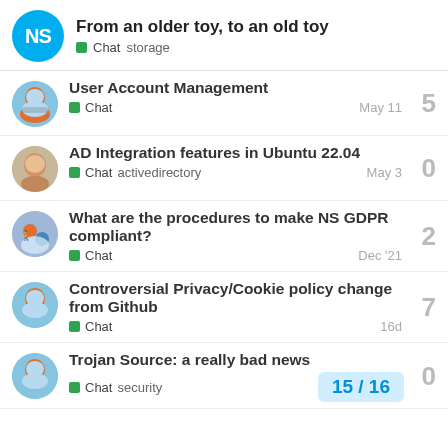From an older toy, to an old toy
Chat  storage
User Account Management
Chat  May 11  5
AD Integration features in Ubuntu 22.04
Chat  activedirectory  May 3  0
What are the procedures to make NS GDPR compliant?
Chat  Dec '21  2
Controversial Privacy/Cookie policy change from Github
Chat  16d  7
Trojan Source: a really bad news
Chat  security  0
15 / 16